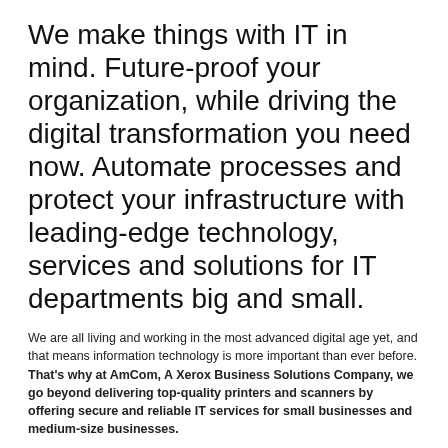We make things with IT in mind. Future-proof your organization, while driving the digital transformation you need now. Automate processes and protect your infrastructure with leading-edge technology, services and solutions for IT departments big and small.
We are all living and working in the most advanced digital age yet, and that means information technology is more important than ever before. That's why at AmCom, A Xerox Business Solutions Company, we go beyond delivering top-quality printers and scanners by offering secure and reliable IT services for small businesses and medium-size businesses.
GET STARTED TODAY!
TRY US TODAY